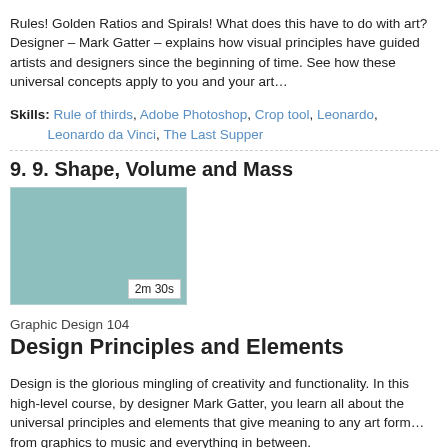Rules! Golden Ratios and Spirals! What does this have to do with art? Designer – Mark Gatter – explains how visual principles have guided artists and designers since the beginning of time. See how these universal concepts apply to you and your art…
Skills: Rule of thirds, Adobe Photoshop, Crop tool, Leonardo, Leonardo da Vinci, The Last Supper
9. 9. Shape, Volume and Mass
[Figure (photo): Thumbnail image for Shape, Volume and Mass lesson, teal/muted green rectangle with duration label 2m 30s]
Graphic Design 104
Design Principles and Elements
Design is the glorious mingling of creativity and functionality. In this high-level course, by designer Mark Gatter, you learn all about the universal principles and elements that give meaning to any art form… from graphics to music and everything in between.
Skills: Shape, volume, mass, detail, 2D, 3D, visual weight, drop shadow, bevel, emboss, Adobe Photoshop,